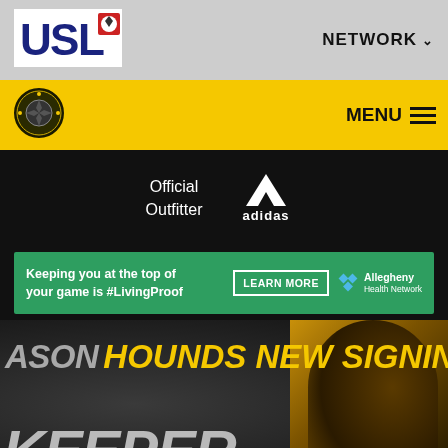[Figure (logo): USL league logo - red white and blue letters USL with a soccer ball graphic]
NETWORK ∨
[Figure (logo): Pittsburgh Riverhounds team crest - circular badge with yellow and black]
MENU
Official Outfitter
[Figure (logo): Adidas logo - three stripes trefoil and adidas wordmark in white]
[Figure (infographic): Green banner ad: Keeping you at the top of your game is #LivingProof | LEARN MORE | Allegheny Health Network logo]
[Figure (photo): Dark hero banner with text: ASON HOUNDS NEW SIGNING in gold italic and KEEPER in white italic, with a player photo on the right]